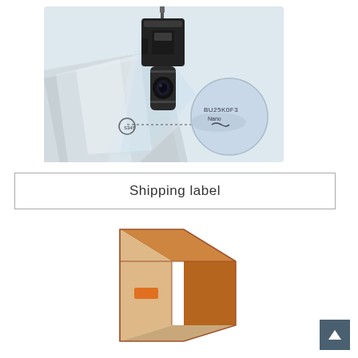[Figure (photo): Industrial vision/camera sensor scanning a marking on a metallic surface, with a circular magnified inset showing the scanned text (e.g. 'BU25K0F3 Nano') on the surface.]
Shipping label
[Figure (illustration): Isometric illustration of a cardboard shipping box with a small orange label/sticker on its front face.]